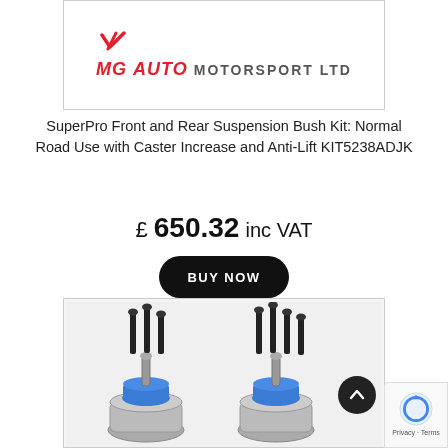[Figure (logo): MG Auto Motorsport Ltd logo with red chevron/slash mark above text. 'MG AUTO' in bold red italic, 'MOTORSPORT LTD' in grey uppercase.]
SuperPro Front and Rear Suspension Bush Kit: Normal Road Use with Caster Increase and Anti-Lift KIT5238ADJK
£ 650.32 inc VAT
BUY NOW
[Figure (photo): Photo of SuperPro suspension ball joint components with blue polyurethane bushes and black bolts/hardware on a white background.]